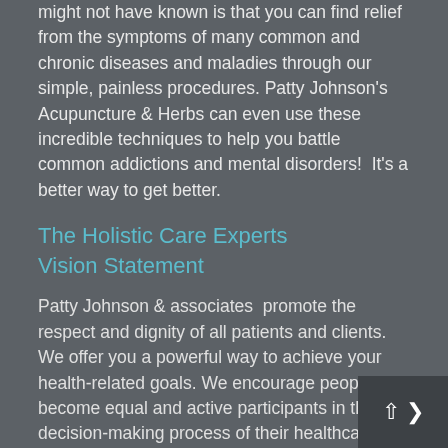might not have known is that you can find relief from the symptoms of many common and chronic diseases and maladies through our simple, painless procedures. Patty Johnson's Acupuncture & Herbs can even use these incredible techniques to help you battle common addictions and mental disorders!  It's a better way to get better.
The Holistic Care Experts Vision Statement
Patty Johnson & associates  promote the respect and dignity of all patients and clients. We offer you a powerful way to achieve your health-related goals. We encourage people to become equal and active participants in the decision-making process of their healthcare. Our aim is to create a healthy partnership in a caring environment. A safe haven where every